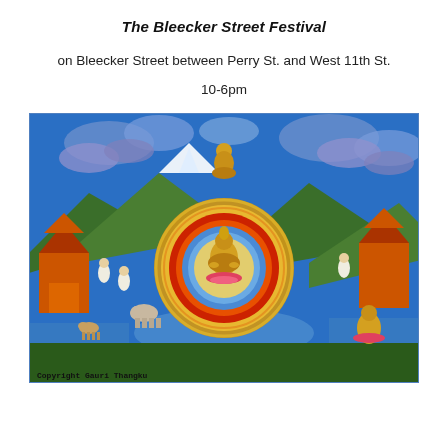The Bleecker Street Festival
on Bleecker Street between Perry St. and West 11th St.
10-6pm
[Figure (illustration): Colorful Tibetan Buddhist Thangka painting depicting a central Buddha figure seated in a mandala, surrounded by various scenes of deities, landscapes, temples, animals, and figures. Copyright Gauri Thangku text appears at bottom left.]